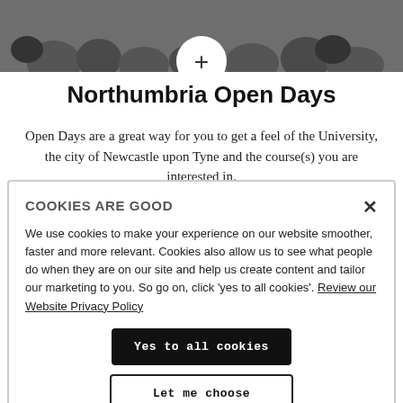[Figure (photo): Black and white photo of a crowd of people at a university open day event, with a white circle containing a plus sign centered at the bottom of the image.]
Northumbria Open Days
Open Days are a great way for you to get a feel of the University, the city of Newcastle upon Tyne and the course(s) you are interested in.
COOKIES ARE GOOD
We use cookies to make your experience on our website smoother, faster and more relevant. Cookies also allow us to see what people do when they are on our site and help us create content and tailor our marketing to you. So go on, click 'yes to all cookies'. Review our Website Privacy Policy
Yes to all cookies
Let me choose